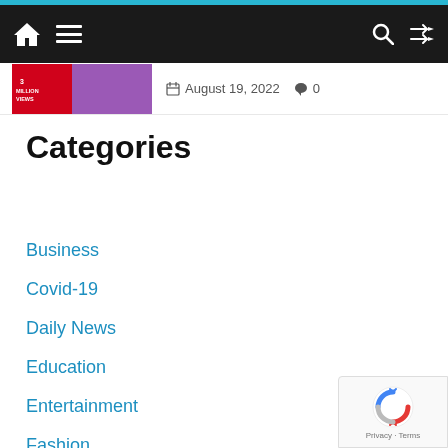Navigation bar with home icon, menu icon, search icon, and shuffle icon
August 19, 2022   0
Categories
Business
Covid-19
Daily News
Education
Entertainment
Fashion
Food
Gadgets
[Figure (logo): reCAPTCHA badge with Privacy and Terms links]